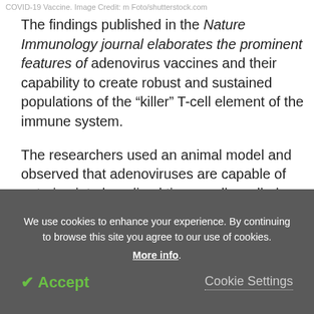COVID-19 Vaccine. Image Credit: m foto/shutterstock.com
The findings published in the Nature Immunology journal elaborates the prominent features of adenovirus vaccines and their capability to create robust and sustained populations of the “killer” T-cell element of the immune system.
The researchers used an animal model and observed that adenoviruses are capable of entering into long-lived tissue cells, called fibroblastic reticular cells. They, in turn, form small, well-organized clusters, which act
We use cookies to enhance your experience. By continuing to browse this site you agree to our use of cookies. More info.
✔ Accept   Cookie Settings